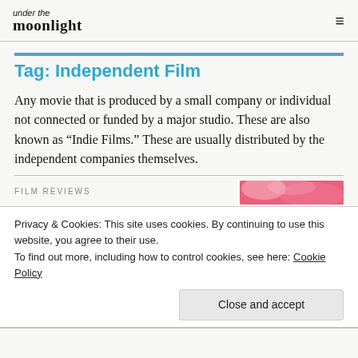under the moonlight
Tag: Independent Film
Any movie that is produced by a small company or individual not connected or funded by a major studio. These are also known as “Indie Films.” These are usually distributed by the independent companies themselves.
FILM REVIEWS
Privacy & Cookies: This site uses cookies. By continuing to use this website, you agree to their use.
To find out more, including how to control cookies, see here: Cookie Policy
Close and accept